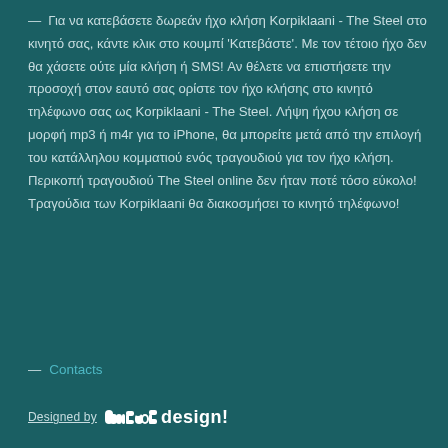— Για να κατεβάσετε δωρεάν ήχο κλήση Korpiklaani - The Steel στο κινητό σας, κάντε κλικ στο κουμπί 'Κατεβάστε'. Με τον τέτοιο ήχο δεν θα χάσετε ούτε μία κλήση ή SMS! Αν θέλετε να επιστήσετε την προσοχή στον εαυτό σας ορίστε τον ήχο κλήσης στο κινητό τηλέφωνο σας ως Korpiklaani - The Steel. Λήψη ήχου κλήση σε μορφή mp3 ή m4r για το iPhone, θα μπορείτε μετά από την επιλογή του κατάλληλου κομματιού ενός τραγουδιού για τον ήχο κλήση. Περικοπή τραγουδιού The Steel online δεν ήταν ποτέ τόσο εύκολο! Τραγούδια των Korpiklaani θα διακοσμήσει το κινητό τηλέφωνο!
Contacts
Designed by meo design!